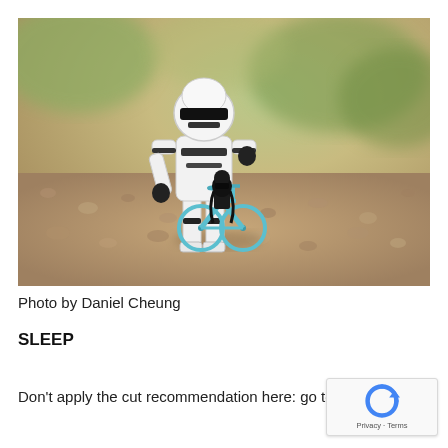[Figure (photo): Macro photo of a white Stormtrooper action figure standing over a small black Darth Vader LEGO figure seated on a teal/blue toy bicycle, on a gravelly surface with a blurred green and beige bokeh background.]
Photo by Daniel Cheung
SLEEP
Don't apply the cut recommendation here: go to bed